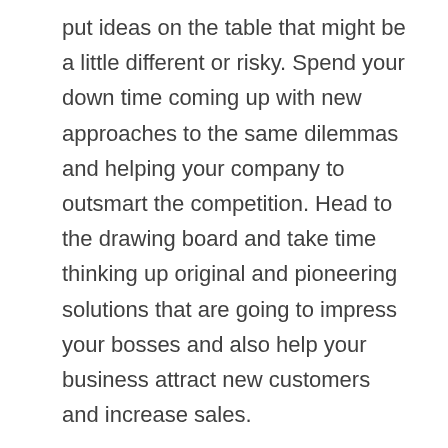put ideas on the table that might be a little different or risky. Spend your down time coming up with new approaches to the same dilemmas and helping your company to outsmart the competition. Head to the drawing board and take time thinking up original and pioneering solutions that are going to impress your bosses and also help your business attract new customers and increase sales.

If you come from a structured corporate environment then this may be your greatest